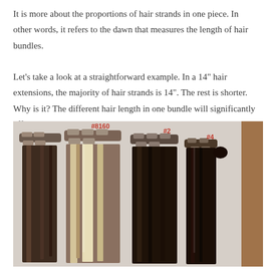It is more about the proportions of hair strands in one piece. In other words, it refers to the dawn that measures the length of hair bundles.

Let's take a look at a straightforward example. In a 14" hair extensions, the majority of hair strands is 14". The rest is shorter. Why is it? The different hair length in one bundle will significantly affect the hair thickness.
[Figure (photo): Photo of several hair extension bundles with clips, displayed hanging. Labels in red marker are visible: #8160, #2, #4. The bundles range from dark brown to highlighted blonde/brown.]